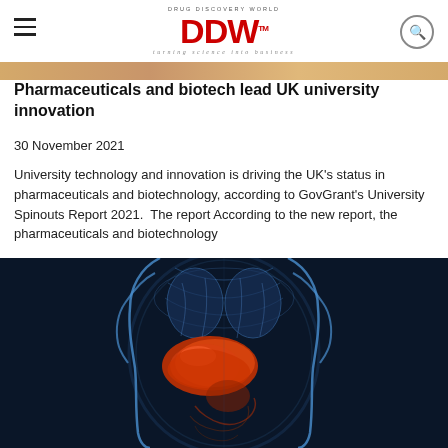DRUG DISCOVERY WORLD DDW turning science into business
Pharmaceuticals and biotech lead UK university innovation
30 November 2021
University technology and innovation is driving the UK's status in pharmaceuticals and biotechnology, according to GovGrant's University Spinouts Report 2021.  The report According to the new report, the pharmaceuticals and biotechnology
[Figure (photo): Medical illustration of a human body torso with internal organs highlighted, showing the liver and digestive organs in orange/red against a dark blue background with glowing blue body outline]